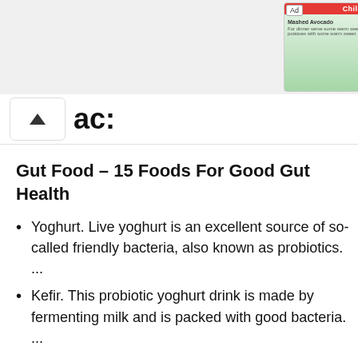[Figure (screenshot): Ad banner at top showing a Childhood health app advertisement with green vegetable imagery and a red Bitner app icon]
Gut Food – 15 Foods For Good Gut Health
Yoghurt. Live yoghurt is an excellent source of so-called friendly bacteria, also known as probiotics. ...
Kefir. This probiotic yoghurt drink is made by fermenting milk and is packed with good bacteria. ...
Miso. ...
Sauerkraut. ...
Kimchi. ...
Sourdough. ...
Almonds. ...
Olive oil.